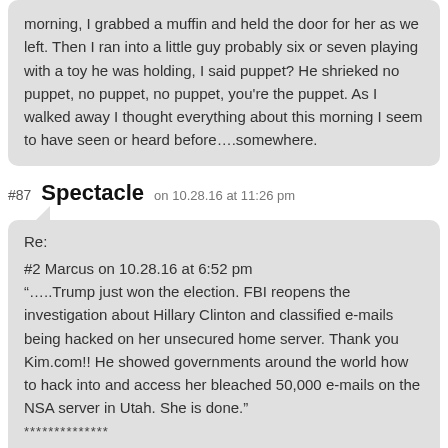morning, I grabbed a muffin and held the door for her as we left. Then I ran into a little guy probably six or seven playing with a toy he was holding, I said puppet? He shrieked no puppet, no puppet, no puppet, you're the puppet. As I walked away I thought everything about this morning I seem to have seen or heard before….somewhere.
#87 Spectacle on 10.28.16 at 11:26 pm
Re:
#2 Marcus on 10.28.16 at 6:52 pm
“…..Trump just won the election. FBI reopens the investigation about Hillary Clinton and classified e-mails being hacked on her unsecured home server. Thank you Kim.com!! He showed governments around the world how to hack into and access her bleached 50,000 e-mails on the NSA server in Utah. She is done.”
**************

Very cool! I wondered what happened to Kim.com .

Feds went after him, his mom, seized is cars. Gave it all back and let him go. Nada…. But big mistake. Major technical wizard! Now, His F— You back to Trump. Hillary and NSA hacked him, and that’s all On…